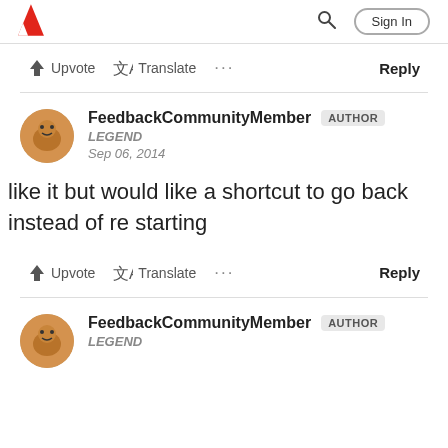Adobe logo, Search, Sign In
Upvote  Translate  ...  Reply
FeedbackCommunityMember AUTHOR
LEGEND
Sep 06, 2014
like it but would like a shortcut to go back instead of re starting
Upvote  Translate  ...  Reply
FeedbackCommunityMember AUTHOR
LEGEND